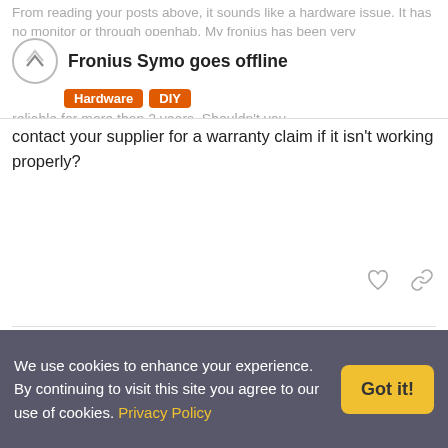Fronius Symo goes offline | Hardware | DIY
contact your supplier for a warranty claim if it isn't working properly?
jlikonen
Jari Likonen
Mar 11

Yes, it's a hardware issue. I just wanted to say that openHAB bridge works when the inverter is alive.

I think I need to contact the supplier today. I was just wondering whether anybody else has experienced this problem and if there was a simple solution to it.
We use cookies to enhance your experience. By continuing to visit this site you agree to our use of cookies. Privacy Policy